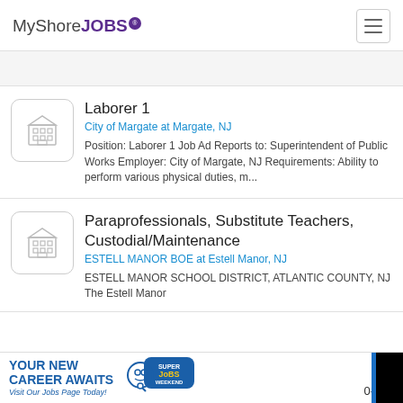MyShoreJOBS
Laborer 1
City of Margate at Margate, NJ
Position: Laborer 1 Job Ad Reports to: Superintendent of Public Works Employer: City of Margate, NJ Requirements: Ability to perform various physical duties, m...
Paraprofessionals, Substitute Teachers, Custodial/Maintenance
ESTELL MANOR BOE at Estell Manor, NJ
ESTELL MANOR SCHOOL DISTRICT, ATLANTIC COUNTY, NJ The Estell Manor...
[Figure (infographic): Advertisement banner: YOUR NEW CAREER AWAITS - Visit Our Jobs Page Today! with Super Jobs Weekend logo]